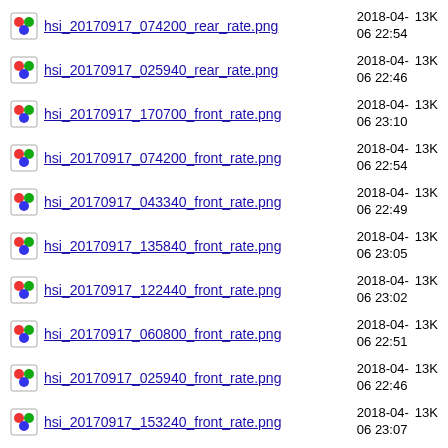hsi_20170917_074200_rear_rate.png  2018-04-06 22:54  13K
hsi_20170917_025940_rear_rate.png  2018-04-06 22:46  13K
hsi_20170917_170700_front_rate.png  2018-04-06 23:10  13K
hsi_20170917_074200_front_rate.png  2018-04-06 22:54  13K
hsi_20170917_043340_front_rate.png  2018-04-06 22:49  13K
hsi_20170917_135840_front_rate.png  2018-04-06 23:05  13K
hsi_20170917_122440_front_rate.png  2018-04-06 23:02  13K
hsi_20170917_060800_front_rate.png  2018-04-06 22:51  13K
hsi_20170917_025940_front_rate.png  2018-04-06 22:46  13K
hsi_20170917_153240_front_rate.png  2018-04-06 23:07  13K
Apache/2.4.29 (Ubuntu) Server at soleil80 Port 80